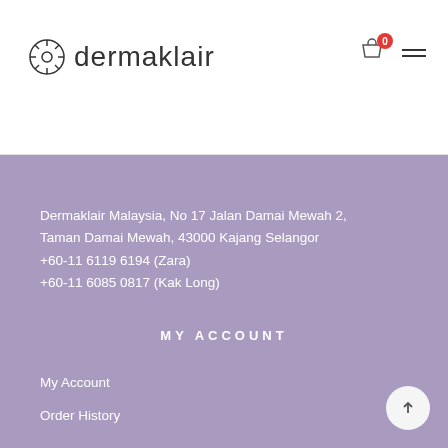[Figure (logo): Dermaklair logo with circular icon and brand name text]
Dermaklair Malaysia, No 17 Jalan Damai Mewah 2, Taman Damai Mewah, 43000 Kajang Selangor
+60-11 6119 6194 (Zara)
+60-11 6085 0817 (Kak Long)
MY ACCOUNT
My Account
Order History